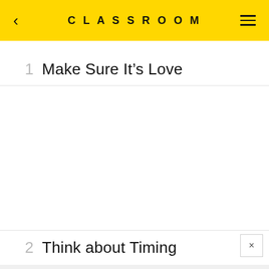CLASSROOM
1  Make Sure It's Love
2  Think about Timing